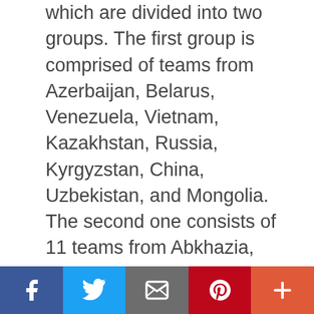which are divided into two groups. The first group is comprised of teams from Azerbaijan, Belarus, Venezuela, Vietnam, Kazakhstan, Russia, Kyrgyzstan, China, Uzbekistan, and Mongolia. The second one consists of 11 teams from Abkhazia, Armenia, Zimbabwe, Iran, Laos, Mali, Myanmar, Syria, Sudan, Tajikistan, and South Ossetia. * The same day, the “Army of Culture” contingent of the Vietnam People’s Army had a group performance at Patriot Park on the outskirts of Moscow to serve the online voting. At the event, the Vietnamese artists performed the “Bai ca … [Read more...]
[Figure (infographic): Social sharing bar with five buttons: Facebook (dark blue), Twitter (light blue), Email/envelope (grey), Pinterest (red), and More/plus (orange-red)]